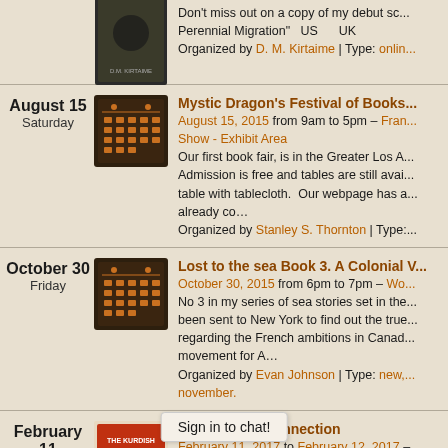Don't miss out on a copy of my debut sc... Perennial Migration" US UK
Organized by D. M. Kirtaime | Type: onlin...
August 15 Saturday - Mystic Dragon's Festival of Books - August 15, 2015 from 9am to 5pm – Fran... Show - Exhibit Area. Our first book fair, is in the Greater Los A... Admission is free and tables are still avai... table with tablecloth. Our webpage has a... already co… Organized by Stanley S. Thornton | Type:...
October 30 Friday - Lost to the sea Book 3. A Colonial V... October 30, 2015 from 6pm to 7pm – Wo... No 3 in my series of sea stories set in the... been sent to New York to find out the true... regarding the French ambitions in Canad... movement for A… Organized by Evan Johnson | Type: new,... november.
February 11 Saturday - The Kurdish Connection - February 11, 2017 to February 12, 2017 – KURDISH SCAVENGERS UNCOVER A... GAS I...
Sign in to chat!